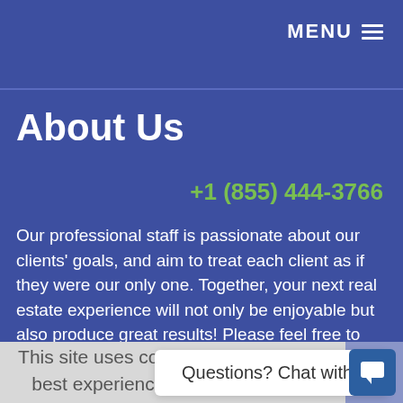MENU ≡
About Us
+1 (855) 444-3766
Our professional staff is passionate about our clients' goals, and aim to treat each client as if they were our only one. Together, your next real estate experience will not only be enjoyable but also produce great results! Please feel free to give us a call, or send an email anytime and we will contact you
This site uses cookies to give you the best experience possible. You can read more about our use of cookies or, if you agree, continue to use the site as normal.
Questions? Chat with us...